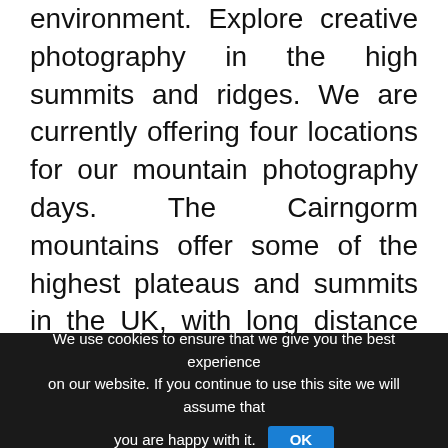environment. Explore creative photography in the high summits and ridges. We are currently offering four locations for our mountain photography days. The Cairngorm mountains offer some of the highest plateaus and summits in the UK, with long distance views, great perspectives and vast expanses of sky and summits. In contrast, the hills of Assyst in the north west of Scotland offer amazing west coast light, coastal views from the summits and the sculpted architecture of the mountains, cast from some of the most ancient geology in the world. Meanwhile the Fannich mountains in Easter Ross and the majestic hills of Kintail provide magnificent ridge walks and panoramic views to the
We use cookies to ensure that we give you the best experience on our website. If you continue to use this site we will assume that you are happy with it. OK